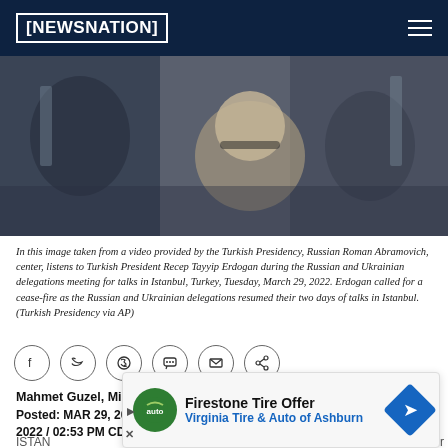NEWSNATION
[Figure (photo): Image taken from a video provided by the Turkish Presidency showing Roman Abramovich and others at a meeting table during Russian-Ukrainian delegation talks in Istanbul]
In this image taken from a video provided by the Turkish Presidency, Russian Roman Abramovich, center, listens to Turkish President Recep Tayyip Erdogan during the Russian and Ukrainian delegations meeting for talks in Istanbul, Turkey, Tuesday, March 29, 2022. Erdogan called for a cease-fire as the Russian and Ukrainian delegations resumed their two days of talks in Istanbul. (Turkish Presidency via AP)
[Figure (other): Social media share icons: Facebook, Twitter, WhatsApp, chat, email, share]
Mahmet Guzel, Mike Corder/AP
Posted: MAR 29, 2022 / 02:53 PM CDT | Updated: MAR 29, 2022 / 02:53 PM CDT
ISTANBUL (AP) — ... Vladimir Putin... between be added to the resume of Roman Abramovich?
[Figure (other): Advertisement overlay: Firestone Tire Offer - Virginia Tire & Auto of Ashburn]